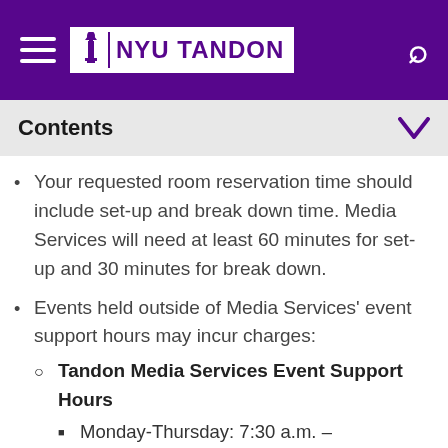NYU TANDON
Contents
Your requested room reservation time should include set-up and break down time. Media Services will need at least 60 minutes for set-up and 30 minutes for break down.
Events held outside of Media Services' event support hours may incur charges:
Tandon Media Services Event Support Hours
Monday-Thursday: 7:30 a.m. – 10:00 p.m.